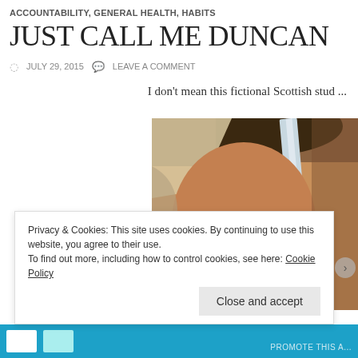ACCOUNTABILITY, GENERAL HEALTH, HABITS
JUST CALL ME DUNCAN
JULY 29, 2015   LEAVE A COMMENT
I don't mean this fictional Scottish stud ...
[Figure (photo): Close-up photo of a man's face partially obscured by a sword or blade, dark hair, intense eyes, dramatic lighting]
Privacy & Cookies: This site uses cookies. By continuing to use this website, you agree to their use. To find out more, including how to control cookies, see here: Cookie Policy
Close and accept